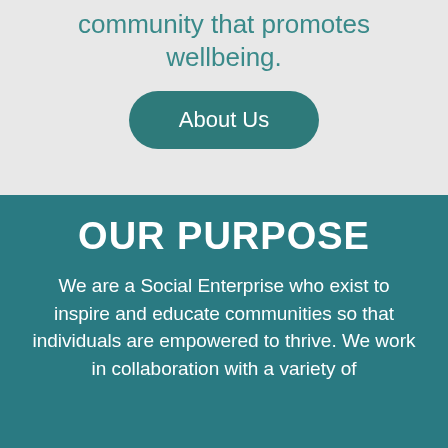community that promotes wellbeing.
About Us
OUR PURPOSE
We are a Social Enterprise who exist to inspire and educate communities so that individuals are empowered to thrive. We work in collaboration with a variety of